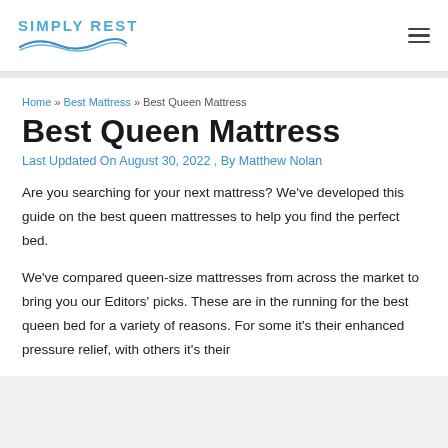SIMPLY REST
Home » Best Mattress » Best Queen Mattress
Best Queen Mattress
Last Updated On August 30, 2022 , By Matthew Nolan
Are you searching for your next mattress? We've developed this guide on the best queen mattresses to help you find the perfect bed.
We've compared queen-size mattresses from across the market to bring you our Editors' picks. These are in the running for the best queen bed for a variety of reasons. For some it's their enhanced pressure relief, with others it's their